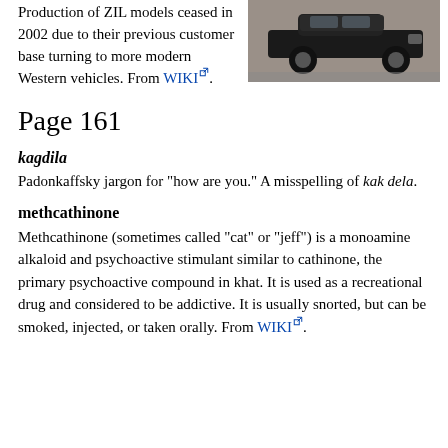Production of ZIL models ceased in 2002 due to their previous customer base turning to more modern Western vehicles. From WIKI.
[Figure (photo): Black and white photo of a ZIL limousine automobile, rear portion visible]
Page 161
kagdila
Padonkaffsky jargon for "how are you." A misspelling of kak dela.
methcathinone
Methcathinone (sometimes called "cat" or "jeff") is a monoamine alkaloid and psychoactive stimulant similar to cathinone, the primary psychoactive compound in khat. It is used as a recreational drug and considered to be addictive. It is usually snorted, but can be smoked, injected, or taken orally. From WIKI.